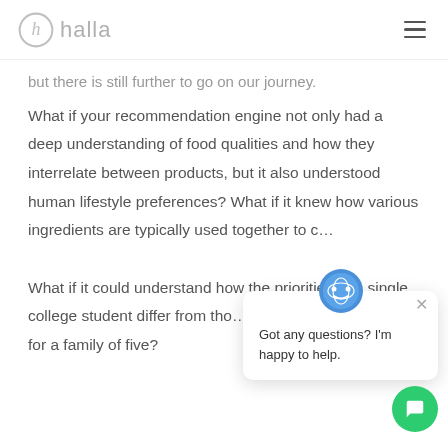halla
but there is still further to go on our journey. What if your recommendation engine not only had a deep understanding of food qualities and how they interrelate between products, but it also understood human lifestyle preferences? What if it knew how various ingredients are typically used together to c... What if it could understand how the priorities of a single college student differ from those of the primary shopper for a family of five?
[Figure (screenshot): Chat popup bubble with avatar icon and text: 'Got any questions? I'm happy to help.' with an X close button, and a green circular chat button in the bottom right.]